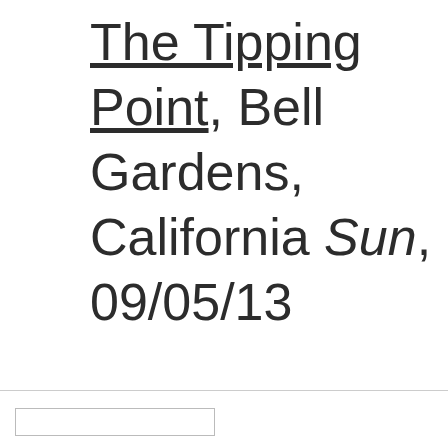The Tipping Point, Bell Gardens, California Sun, 09/05/13